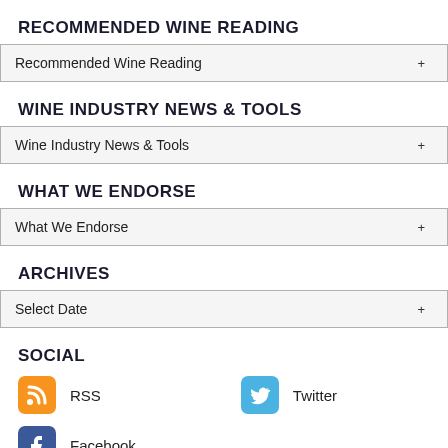RECOMMENDED WINE READING
Recommended Wine Reading
WINE INDUSTRY NEWS & TOOLS
Wine Industry News & Tools
WHAT WE ENDORSE
What We Endorse
ARCHIVES
Select Date
SOCIAL
RSS
Twitter
Facebook
[Figure (logo): Creative Commons license logo with CC and info icons]